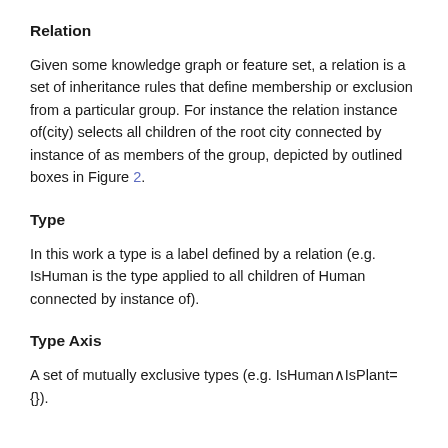Relation
Given some knowledge graph or feature set, a relation is a set of inheritance rules that define membership or exclusion from a particular group. For instance the relation instance of(city) selects all children of the root city connected by instance of as members of the group, depicted by outlined boxes in Figure 2.
Type
In this work a type is a label defined by a relation (e.g. IsHuman is the type applied to all children of Human connected by instance of).
Type Axis
A set of mutually exclusive types (e.g. IsHuman∧IsPlant= {}).